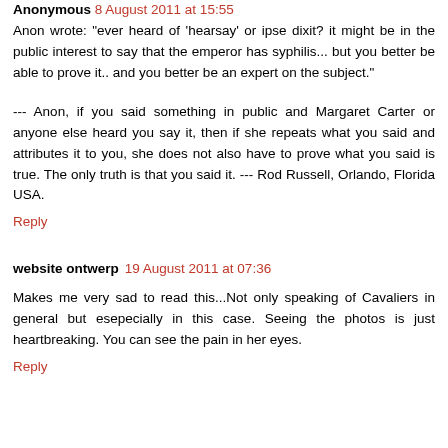Anonymous 8 August 2011 at 15:55
Anon wrote: "ever heard of 'hearsay' or ipse dixit? it might be in the public interest to say that the emperor has syphilis... but you better be able to prove it.. and you better be an expert on the subject."
--- Anon, if you said something in public and Margaret Carter or anyone else heard you say it, then if she repeats what you said and attributes it to you, she does not also have to prove what you said is true. The only truth is that you said it. --- Rod Russell, Orlando, Florida USA.
Reply
website ontwerp 19 August 2011 at 07:36
Makes me very sad to read this...Not only speaking of Cavaliers in general but esepecially in this case. Seeing the photos is just heartbreaking. You can see the pain in her eyes.
Reply